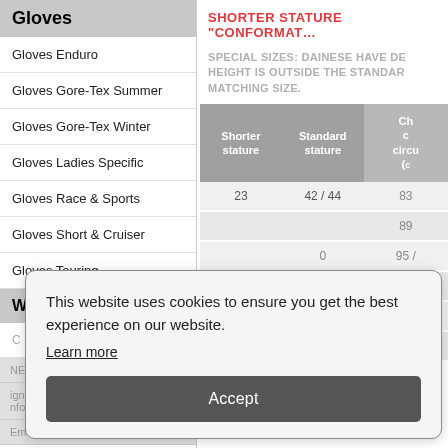Gloves
Gloves Enduro
Gloves Gore-Tex Summer
Gloves Gore-Tex Winter
Gloves Ladies Specific
Gloves Race & Sports
Gloves Short & Cruiser
Gloves Touring
Womens
SHORTER STATURE “CONFORMAT…
SPECIAL SIZES: DAINESE HAVE DE… HEIGHT IS OUTSIDE THE STANDAR… MATCHING SIZE.
| Shorter stature | Standard stature | Ch… ci… circum… |
| --- | --- | --- |
| 23 | 42 / 44 | 83… |
|  |  | 89… |
|  | ⁦0 | 95 /… |
|  |  | 101 /… |
|  | ⁦6 | 107 |
| 58 |  | 113 |
This website uses cookies to ensure you get the best experience on our website.
Learn more
Accept